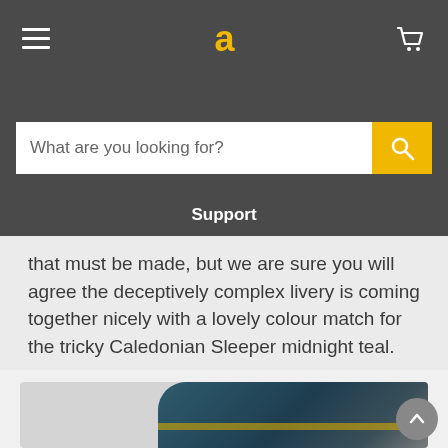Navigation header with hamburger menu, logo 'a', and cart icon
What are you looking for?
Support
that must be made, but we are sure you will agree the deceptively complex livery is coming together nicely with a lovely colour match for the tricky Caledonian Sleeper midnight teal.
[Figure (photo): Photograph of a Caledonian Sleeper train with midnight teal livery, partially visible at bottom of page]